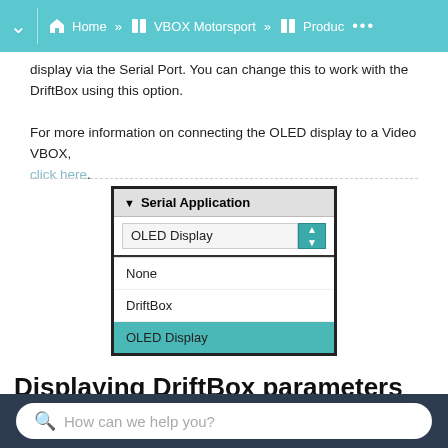Home » VBOX Motorsport » Produc ...
display via the Serial Port. You can change this to work with the DriftBox using this option.

For more information on connecting the OLED display to a Video VBOX, click here.
[Figure (screenshot): Screenshot of a UI dropdown widget titled 'Serial Application' showing a dropdown with 'OLED Display' selected and a list containing 'None', 'DriftBox', and 'OLED Display' (highlighted in teal).]
Displaying DriftBox parameters
How can we help you?